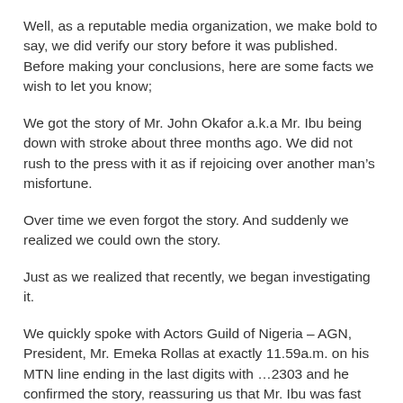Well, as a reputable media organization, we make bold to say, we did verify our story before it was published. Before making your conclusions, here are some facts we wish to let you know;
We got the story of Mr. John Okafor a.k.a Mr. Ibu being down with stroke about three months ago. We did not rush to the press with it as if rejoicing over another man’s misfortune.
Over time we even forgot the story. And suddenly we realized we could own the story.
Just as we realized that recently, we began investigating it.
We quickly spoke with Actors Guild of Nigeria – AGN, President, Mr. Emeka Rollas at exactly 11.59a.m. on his MTN line ending in the last digits with …2303 and he confirmed the story, reassuring us that Mr. Ibu was fast recuperating.